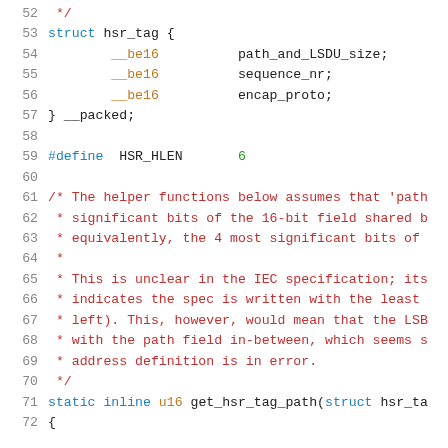52  */
53  struct hsr_tag {
54          __be16          path_and_LSDU_size;
55          __be16          sequence_nr;
56          __be16          encap_proto;
57  } __packed;
58
59  #define HSR_HLEN        6
60
61  /* The helper functions below assumes that 'path
62   * significant bits of the 16-bit field shared b
63   * equivalently, the 4 most significant bits of
64   *
65   * This is unclear in the IEC specification; its
66   * indicates the spec is written with the least
67   * left). This, however, would mean that the LSB
68   * with the path field in-between, which seems s
69   * address definition is in error.
70   */
71  static inline u16 get_hsr_tag_path(struct hsr_ta
72  {